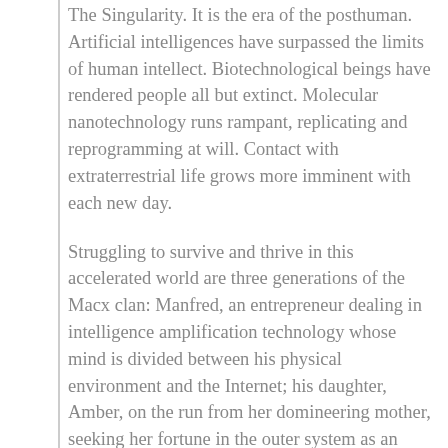The Singularity. It is the era of the posthuman. Artificial intelligences have surpassed the limits of human intellect. Biotechnological beings have rendered people all but extinct. Molecular nanotechnology runs rampant, replicating and reprogramming at will. Contact with extraterrestrial life grows more imminent with each new day.
Struggling to survive and thrive in this accelerated world are three generations of the Macx clan: Manfred, an entrepreneur dealing in intelligence amplification technology whose mind is divided between his physical environment and the Internet; his daughter, Amber, on the run from her domineering mother, seeking her fortune in the outer system as an indentured astronaut; and Sirhan, Amber's son, who finds his destiny linked to the fate of all of humanity.
For something is systemically dismantling the nine